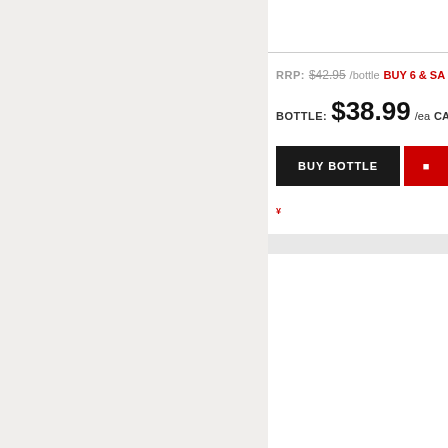RRP: $42.95 /bottle  BUY 6 & SA...
BOTTLE: $38.99 /ea   CAS...
BUY BOTTLE
VALLFORMOSA CAVA CLASSIC ROSÉ BRUT NV
[Figure (illustration): Gold Medal badge/ribbon icon]
GOLD MEDAL: London Internat...